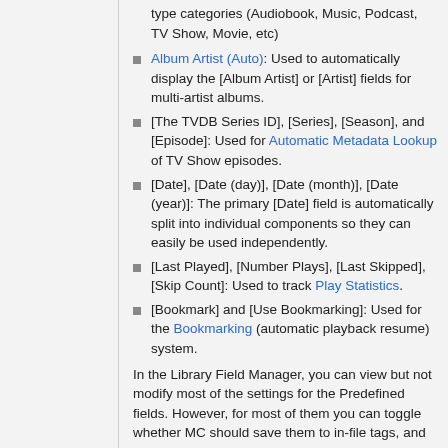type categories (Audiobook, Music, Podcast, TV Show, Movie, etc)
Album Artist (Auto): Used to automatically display the [Album Artist] or [Artist] fields for multi-artist albums.
[The TVDB Series ID], [Series], [Season], and [Episode]: Used for Automatic Metadata Lookup of TV Show episodes.
[Date], [Date (day)], [Date (month)], [Date (year)]: The primary [Date] field is automatically split into individual components so they can easily be used independently.
[Last Played], [Number Plays], [Last Skipped], [Skip Count]: Used to track Play Statistics.
[Bookmark] and [Use Bookmarking]: Used for the Bookmarking (automatic playback resume) system.
In the Library Field Manager, you can view but not modify most of the settings for the Predefined fields. However, for most of them you can toggle whether MC should save them to in-file tags, and modify the search keywords